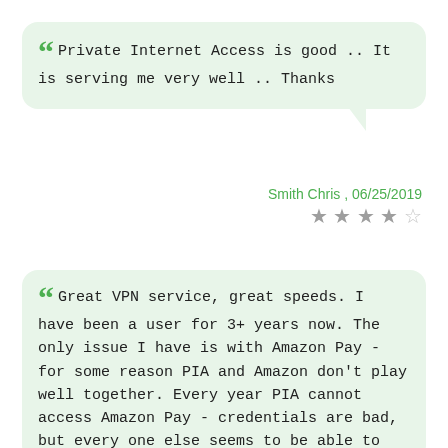Private Internet Access is good .. It is serving me very well .. Thanks
Smith Chris , 06/25/2019
★★★★☆ (4 out of 5 stars)
Great VPN service, great speeds. I have been a user for 3+ years now. The only issue I have is with Amazon Pay - for some reason PIA and Amazon don't play well together. Every year PIA cannot access Amazon Pay - credentials are bad, but every one else seems to be able to access and use it - so for the 4th year in a row, I now have a new user ID because the old one ran out with no payment. A minor annoyance - actually a pain in the nether regions.